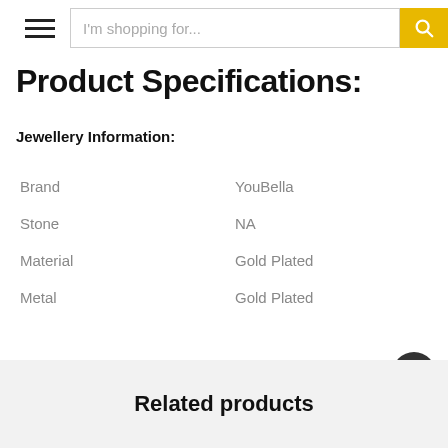I'm shopping for...
Product Specifications:
Jewellery Information:
|  |  |
| --- | --- |
| Brand | YouBella |
| Stone | NA |
| Material | Gold Plated |
| Metal | Gold Plated |
Related products